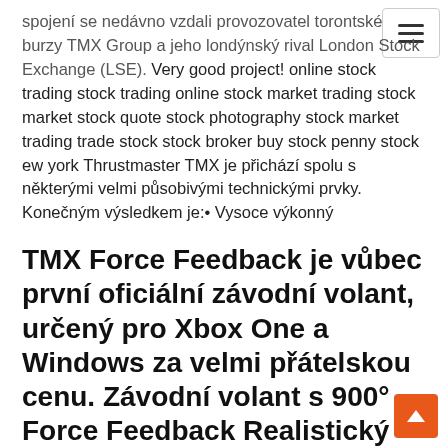spojení se nedávno vzdali provozovatel torontské burzy TMX Group a jeho londýnský rival London Stock Exchange (LSE). Very good project! online stock trading stock trading online stock market trading stock market stock quote stock photography stock market trading trade stock stock broker buy stock penny stock ew york Thrustmaster TMX je přichází spolu s některými velmi působivými technickými prvky. Konečným výsledkem je:• Vysoce výkonný
TMX Force Feedback je vůbec první oficiální závodní volant, určený pro Xbox One a Windows za velmi přátelskou cenu. Závodní volant s 900° Force Feedback Realistický 28 cm volant Včetně velké